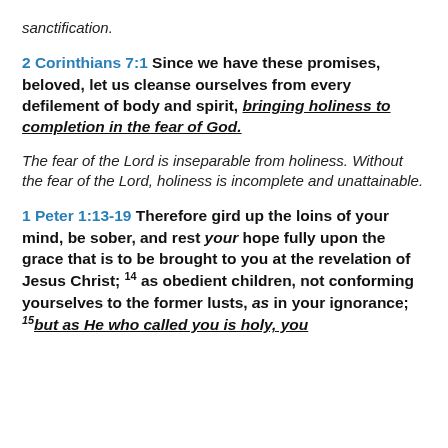sanctification.
2 Corinthians 7:1 Since we have these promises, beloved, let us cleanse ourselves from every defilement of body and spirit, bringing holiness to completion in the fear of God.
The fear of the Lord is inseparable from holiness. Without the fear of the Lord, holiness is incomplete and unattainable.
1 Peter 1:13-19 Therefore gird up the loins of your mind, be sober, and rest your hope fully upon the grace that is to be brought to you at the revelation of Jesus Christ; 14 as obedient children, not conforming yourselves to the former lusts, as in your ignorance; 15 but as He who called you is holy, you